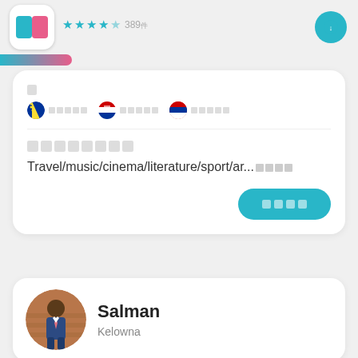[Figure (screenshot): App store listing top bar with icon, star rating (4.5 stars, 389 reviews), and get button]
□ □□□□□  □□□□□  □□□□□
□□□□□□□□
Travel/music/cinema/literature/sport/ar... □□□□
□□□□
Salman
Kelowna